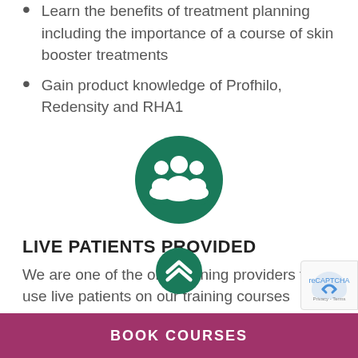Learn the benefits of treatment planning including the importance of a course of skin booster treatments
Gain product knowledge of Profhilo, Redensity and RHA1
[Figure (illustration): Green circle icon with white silhouette of three people (group/team icon)]
LIVE PATIENTS PROVIDED
We are one of the only training providers to use live patients on our training courses
[Figure (illustration): Green circle icon with white chevron/arrow shapes (partially visible at bottom)]
[Figure (illustration): reCAPTCHA badge (partially visible at bottom right)]
BOOK COURSES